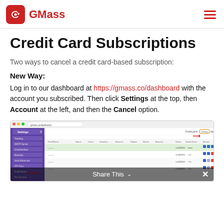GMass
Credit Card Subscriptions
Two ways to cancel a credit card-based subscription:
New Way:
Log in to our dashboard at https://gmass.co/dashboard with the account you subscribed. Then click Settings at the top, then Account at the left, and then the Cancel option.
[Figure (screenshot): Screenshot of the GMass dashboard showing the Settings panel on the left side with a red arrow pointing to a menu item, and the main dashboard view on the right with campaign data rows.]
Share This